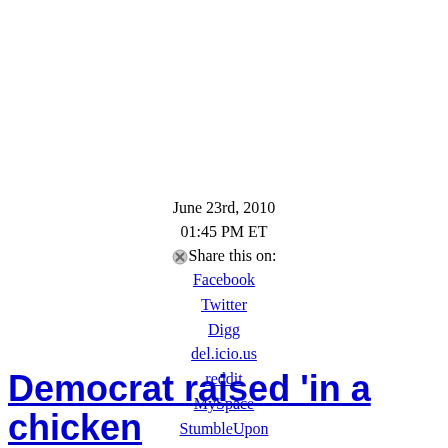June 23rd, 2010
01:45 PM ET
Share this on:
Facebook
Twitter
Digg
del.icio.us
reddit
MySpace
StumbleUpon
12 years ago
Democrat raised 'in a chicken